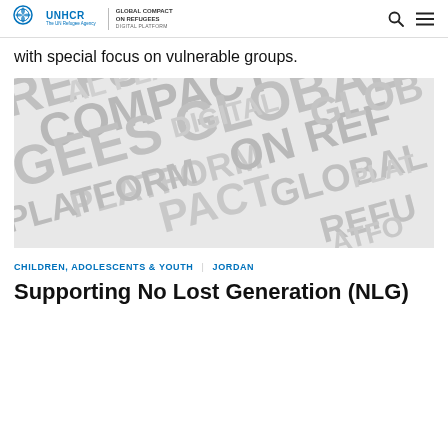UNHCR | GLOBAL COMPACT ON REFUGEES DIGITAL PLATFORM
with special focus on vulnerable groups.
[Figure (illustration): Word cloud background image with repeated words: REFUGEES, GLOBAL, COMPACT, DIGITAL, PLATFORM in large gray bold text on light gray background.]
CHILDREN, ADOLESCENTS & YOUTH  |  JORDAN
Supporting No Lost Generation (NLG)